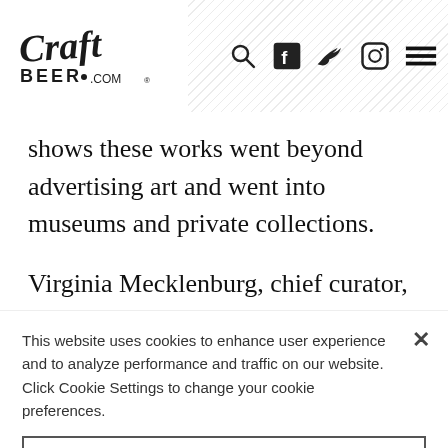CraftBeer.com navigation header with logo and icons
shows these works went beyond advertising art and went into museums and private collections.
Virginia Mecklenburg, chief curator, Smithsonian American Art Museum, notes that, “All of these were well-known artists whose names would resonate with readers.” The
This website uses cookies to enhance user experience and to analyze performance and traffic on our website. Click Cookie Settings to change your cookie preferences.
Cookie Settings
Reject All
Accept All Cookies